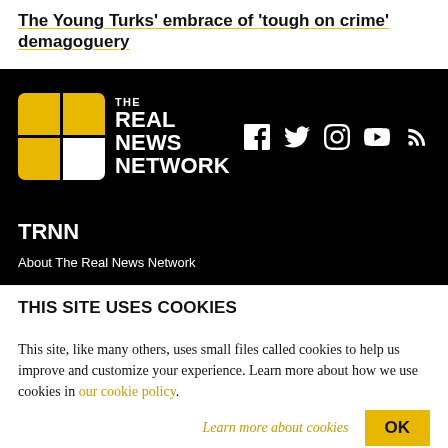The Young Turks' embrace of 'tough on crime' demagoguery
[Figure (logo): The Real News Network logo with yellow grid icon and social media icons (Facebook, Twitter, Instagram, YouTube, RSS)]
TRNN
About The Real News Network
THIS SITE USES COOKIES
This site, like many others, uses small files called cookies to help us improve and customize your experience. Learn more about how we use cookies in our cookie policy.
Learn more about cookies   OK